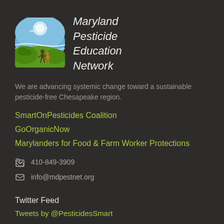[Figure (logo): Maryland Pesticide Education Network circular logo with blue sky, white birds, green hills, and two human silhouettes]
Maryland Pesticide Education Network
We are advancing systemic change toward a sustainable pesticide-free Chesapeake region.
SmartOnPesticides Coalition
GoOrganicNow
Marylanders for Food & Farm Worker Protections
410-849-3909
info@mdpestnet.org
Twitter Feed
Tweets by @PesticidesSmart